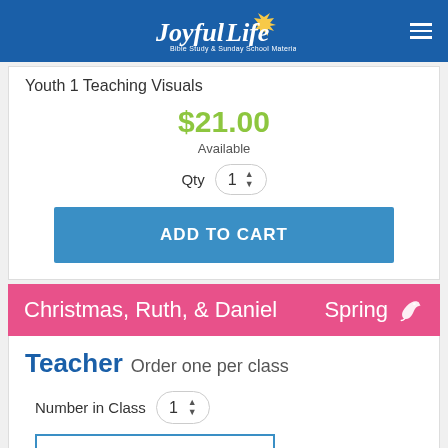Joyful Life Bible Study & Sunday School Materials
Youth 1 Teaching Visuals
$21.00
Available
Qty 1
ADD TO CART
Christmas, Ruth, & Daniel Spring
Teacher Order one per class
Number in Class 1